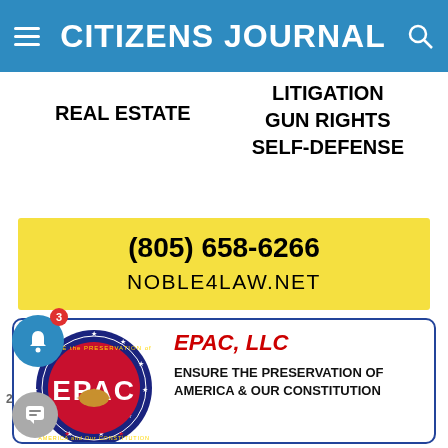CITIZENS JOURNAL
REAL ESTATE
LITIGATION
GUN RIGHTS
SELF-DEFENSE
[Figure (infographic): Yellow banner advertisement for Noble Law with phone number (805) 658-6266 and website NOBLE4LAW.NET]
[Figure (logo): EPAC LLC logo and advertisement card. EPAC (Ensure the Preservation of America and Our Constitution) circular seal with eagle and American flag motif. Card reads: EPAC, LLC — ENSURE THE PRESERVATION OF AMERICA & OUR CONSTITUTION]